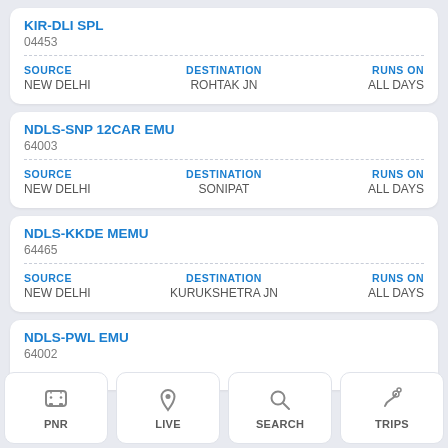KIR-DLI SPL
04453
SOURCE: NEW DELHI | DESTINATION: ROHTAK JN | RUNS ON: ALL DAYS
NDLS-SNP 12CAR EMU
64003
SOURCE: NEW DELHI | DESTINATION: SONIPAT | RUNS ON: ALL DAYS
NDLS-KKDE MEMU
64465
SOURCE: NEW DELHI | DESTINATION: KURUKSHETRA JN | RUNS ON: ALL DAYS
NDLS-PWL EMU
64002
SOURCE: NEW DELHI | DESTINATION: PALWAL | RUNS ON: ALL DAYS
[Figure (screenshot): Bottom navigation bar with four buttons: PNR (train icon), LIVE (location pin icon), SEARCH (magnifier icon), TRIPS (route with pin icon)]